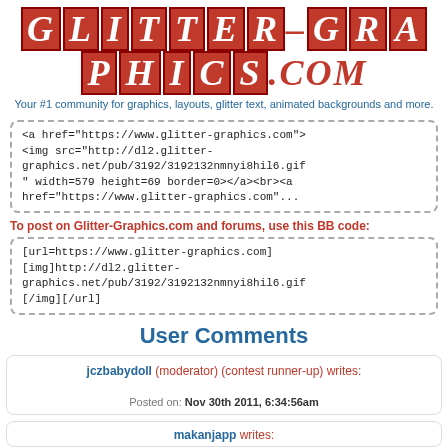GLITTER-GRAPHICS.COM
Your #1 community for graphics, layouts, glitter text, animated backgrounds and more.
<a href="https://www.glitter-graphics.com">
<img src="http://dl2.glitter-graphics.net/pub/3192/3192132nmnyi8hil6.gif" width=579 height=69 border=0></a><br><a href="https://www.glitter-graphics.com"...
To post on Glitter-Graphics.com and forums, use this BB code:
[url=https://www.glitter-graphics.com][img]http://dl2.glitter-graphics.net/pub/3192/3192132nmnyi8hil6.gif[/img][/url]
User Comments
jczbabydoll (moderator) (contest runner-up) writes:
Posted on: Nov 30th 2011, 6:34:56am
makanjapp writes: